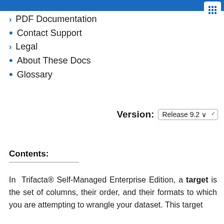› PDF Documentation
• Contact Support
› Legal
• About These Docs
• Glossary
Version: Release 9.2
Contents:
In  Trifacta® Self-Managed Enterprise Edition, a target is the set of columns, their order, and their formats to which you are attempting to wrangle your dataset. This target